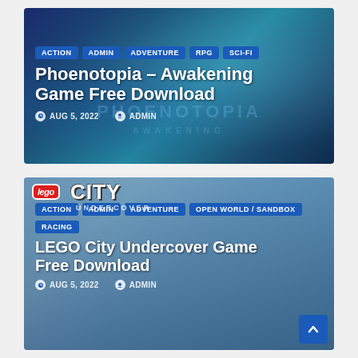[Figure (screenshot): Article card for Phoenotopia – Awakening Game Free Download with dark blue/teal game art background showing anime-style characters, tags: ACTION, ADMIN, ADVENTURE, RPG, SCI-FI, title text, date AUG 5, 2022 and ADMIN author]
[Figure (screenshot): Article card for LEGO City Undercover Game Free Download with city scene background, LEGO City logo, tags: ACTION, ADMIN, ADVENTURE, OPEN WORLD / SANDBOX, RACING, title text, date AUG 5, 2022 and ADMIN author, scroll-to-top button]